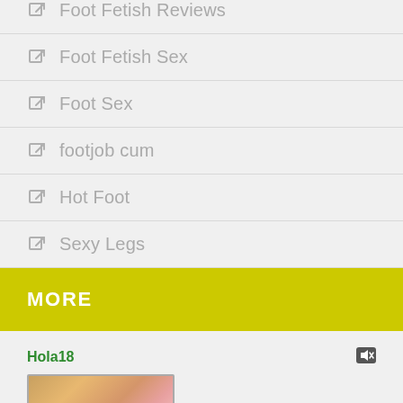Foot Fetish Reviews
Foot Fetish Sex
Foot Sex
footjob cum
Hot Foot
Sexy Legs
MORE
Hola18